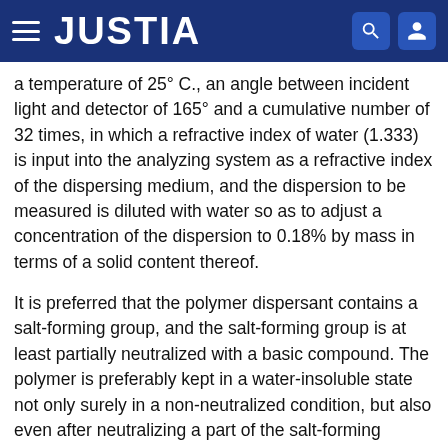JUSTIA
a temperature of 25° C., an angle between incident light and detector of 165° and a cumulative number of 32 times, in which a refractive index of water (1.333) is input into the analyzing system as a refractive index of the dispersing medium, and the dispersion to be measured is diluted with water so as to adjust a concentration of the dispersion to 0.18% by mass in terms of a solid content thereof.
It is preferred that the polymer dispersant contains a salt-forming group, and the salt-forming group is at least partially neutralized with a basic compound. The polymer is preferably kept in a water-insoluble state not only surely in a non-neutralized condition, but also even after neutralizing a part of the salt-forming group.
Examples of the water-insoluble polymer used in the